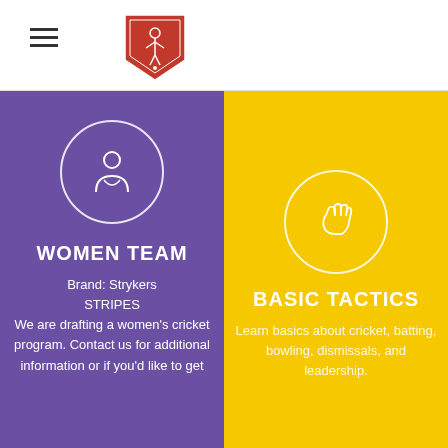[Figure (logo): Strykers cricket club shield logo in red with a cricket player silhouette]
WOMEN TEAM
Brand: Strykers STRIPES
We are drafting a women's cricket program. Contact us for additional information or if you'd like to get
BASIC TACTICS
Learn basics about cricket, batting, bowling, dismissals, and leadership.